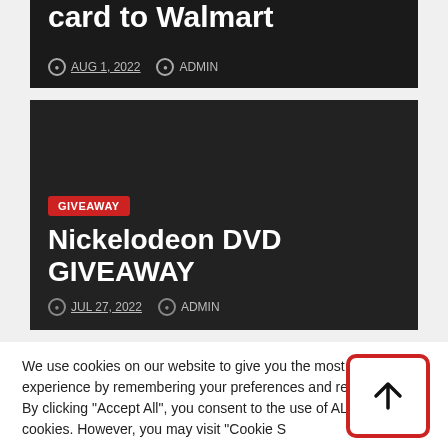card to Walmart
AUG 1, 2022   ADMIN
[Figure (screenshot): Dark card with GIVEAWAY tag, title 'Nickelodeon DVD GIVEAWAY', date JUL 27, 2022, author ADMIN]
GIVEAWAY
Nickelodeon DVD GIVEAWAY
JUL 27, 2022   ADMIN
We use cookies on our website to give you the most relevant experience by remembering your preferences and repeat visits. By clicking "Accept All", you consent to the use of ALL the cookies. However, you may visit "Cookie Settings" to provide a controlled consent.
Cookie Settings   Accept All